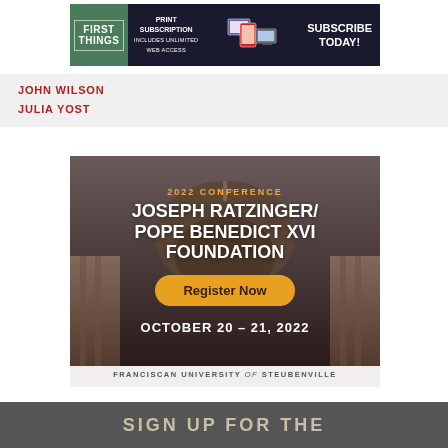[Figure (infographic): First Things magazine banner ad with logo, 'Print Subscription Includes Unlimited Web Access', device images, and 'Subscribe Today!' text]
JOHN WILSON
JULIA YOST
[Figure (infographic): 2022 Conference: Joseph Ratzinger / Pope Benedict XVI Foundation banner with dome of St. Peter's Basilica background, 'Register Now' button, 'October 20 – 21, 2022', and 'Franciscan University of Steubenville']
FRANCISCAN UNIVERSITY of STEUBENVILLE
SIGN UP FOR THE